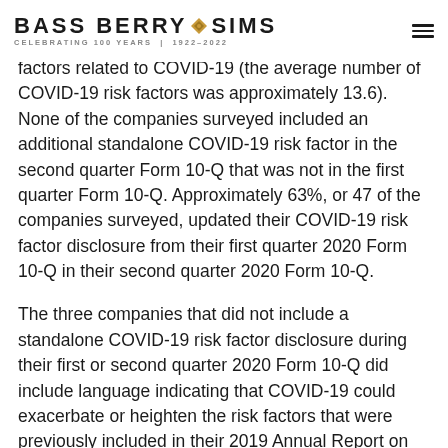BASS BERRY SIMS | CELEBRATING 100 YEARS | 1922-2022
factors related to COVID-19 (the average number of COVID-19 risk factors was approximately 13.6). None of the companies surveyed included an additional standalone COVID-19 risk factor in the second quarter Form 10-Q that was not in the first quarter Form 10-Q. Approximately 63%, or 47 of the companies surveyed, updated their COVID-19 risk factor disclosure from their first quarter 2020 Form 10-Q in their second quarter 2020 Form 10-Q.
The three companies that did not include a standalone COVID-19 risk factor disclosure during their first or second quarter 2020 Form 10-Q did include language indicating that COVID-19 could exacerbate or heighten the risk factors that were previously included in their 2019 Annual Report on Form 10-K. A small portion of the companies we surveyed repeated the risk factor disclosure from their first quarter Form 10-Q verbatim.